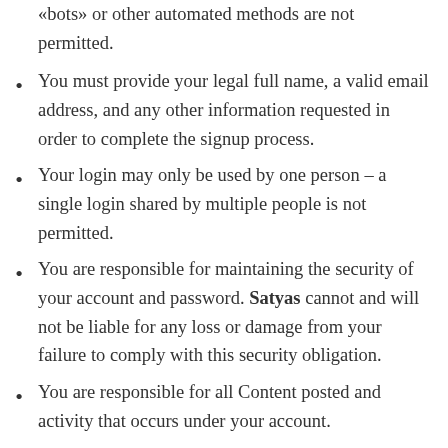«bots» or other automated methods are not permitted.
You must provide your legal full name, a valid email address, and any other information requested in order to complete the signup process.
Your login may only be used by one person – a single login shared by multiple people is not permitted.
You are responsible for maintaining the security of your account and password. Satyas cannot and will not be liable for any loss or damage from your failure to comply with this security obligation.
You are responsible for all Content posted and activity that occurs under your account.
One person or legal entity may not maintain more than one account.
You may not use the Affiliate Program for any illegal or unauthorized purpose. You must not, in the use of